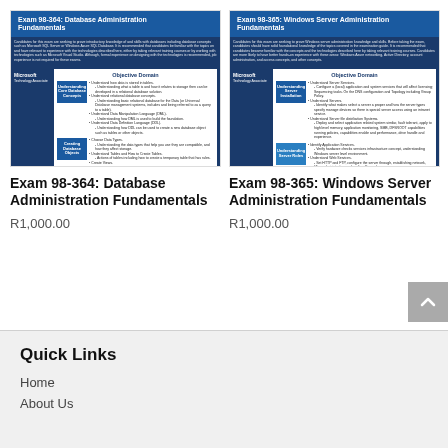[Figure (illustration): Book cover for Exam 98-364: Database Administration Fundamentals showing Microsoft Technology Associate branding with Objective Domain sections]
[Figure (illustration): Book cover for Exam 98-365: Windows Server Administration Fundamentals showing Microsoft Technology Associate branding with Objective Domain sections]
Exam 98-364: Database Administration Fundamentals
Exam 98-365: Windows Server Administration Fundamentals
R1,000.00
R1,000.00
Quick Links
Home
About Us